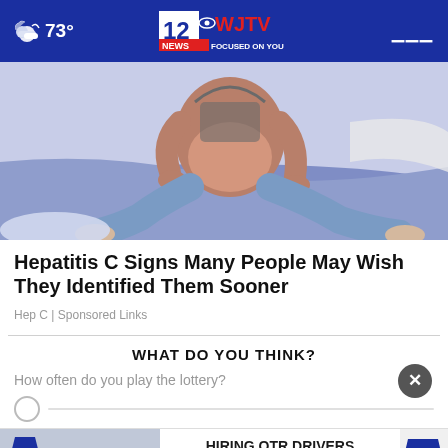73° | WJTV 12 News Focused On You
[Figure (illustration): Illustration of a person lying in bed, depicted with stomach/abdomen visible, cartoon style with light blue bedding and white sheets]
Hepatitis C Signs Many People May Wish They Identified Them Sooner
Hep C | Sponsored Links
WHAT DO YOU THINK?
How often do you play the lottery?
[Figure (screenshot): Advertisement banner for Gulf Relay: blue semi-truck, text HIRING OTR DRIVERS, APPLY NOW! button, Gulf Relay shield logo]